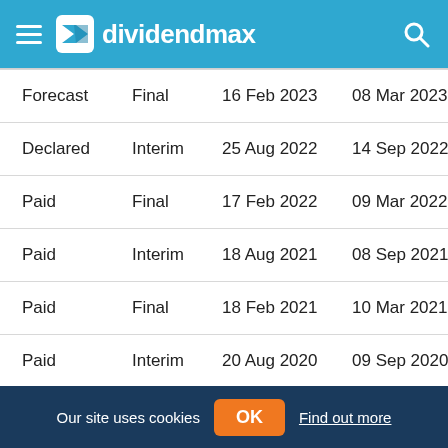dividendmax
| Status | Type | Ex-Div Date | Payment Date |
| --- | --- | --- | --- |
| Forecast | Final | 16 Feb 2023 | 08 Mar 2023 |
| Declared | Interim | 25 Aug 2022 | 14 Sep 2022 |
| Paid | Final | 17 Feb 2022 | 09 Mar 2022 |
| Paid | Interim | 18 Aug 2021 | 08 Sep 2021 |
| Paid | Final | 18 Feb 2021 | 10 Mar 2021 |
| Paid | Interim | 20 Aug 2020 | 09 Sep 2020 |
Our site uses cookies  OK  Find out more